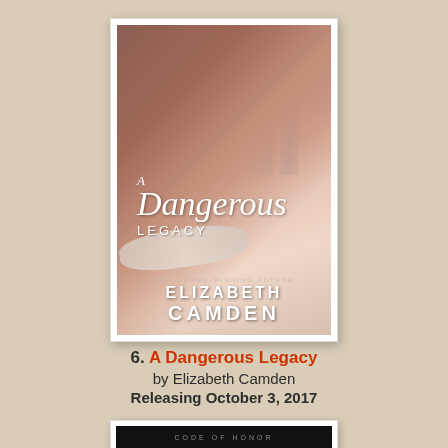[Figure (illustration): Book cover for 'A Dangerous Legacy' by Elizabeth Camden showing a woman from behind wearing a pearl necklace with city buildings in the background. White bordered book cover with decorative ornament at top right.]
6. A Dangerous Legacy by Elizabeth Camden Releasing October 3, 2017
[Figure (illustration): Partial view of another book cover with dark background showing text 'CODE OF HONOR']